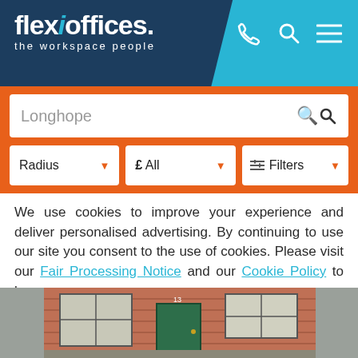flexioffices. the workspace people
Longhope
Radius | £ All | Filters
We use cookies to improve your experience and deliver personalised advertising. By continuing to use our site you consent to the use of cookies. Please visit our Fair Processing Notice and our Cookie Policy to learn more.
Read more | Accept & Close
[Figure (photo): Exterior photo of a brick building with a green door and windows, showing the front facade.]